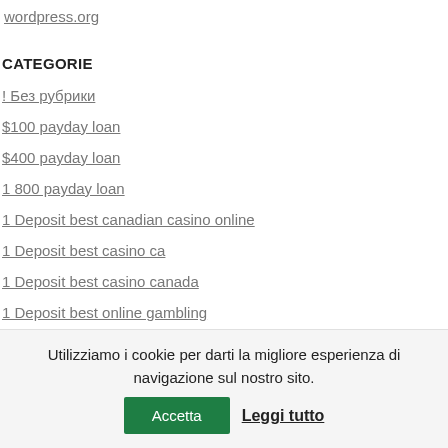wordpress.org
CATEGORIE
! Без рубрики
$100 payday loan
$400 payday loan
1 800 payday loan
1 Deposit best canadian casino online
1 Deposit best casino ca
1 Deposit best casino canada
1 Deposit best online gambling
1 Deposit canadian casinos
1 Deposit online canadian gambling
1 Deposit online gambling
Utilizziamo i cookie per darti la migliore esperienza di navigazione sul nostro sito. Accetta Leggi tutto